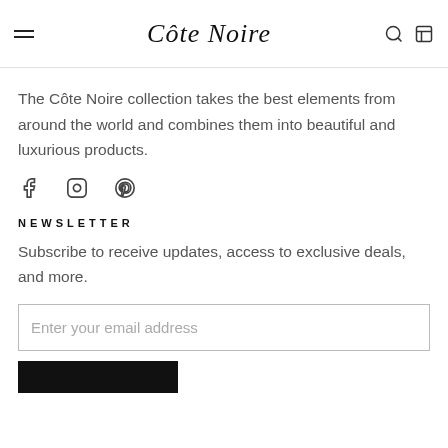Côte Noire
The Côte Noire collection takes the best elements from around the world and combines them into beautiful and luxurious products.
[Figure (other): Social media icons: Facebook, Instagram, Pinterest]
NEWSLETTER
Subscribe to receive updates, access to exclusive deals, and more.
Enter your email address